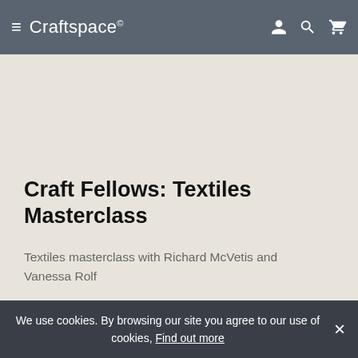≡ Craftspace©
[Figure (illustration): Light beige/cream card area with course listing]
Craft Fellows: Textiles Masterclass
Textiles masterclass with Richard McVetis and Vanessa Rolf
We use cookies. By browsing our site you agree to our use of cookies, Find out more